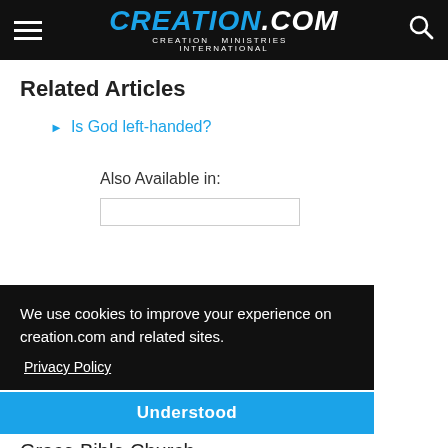CREATION.com — CREATION MINISTRIES INTERNATIONAL
Related Articles
Is God left-handed?
Also Available in:
We use cookies to improve your experience on creation.com and related sites. Privacy Policy
Understood
Grace Bible Church